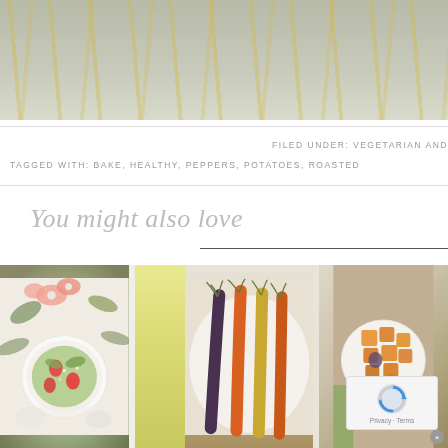[Figure (photo): Top portion of a decorative fabric or tablecloth with yellow leaf/feather pattern on white/grey background, partially cropped]
FILED UNDER: VEGETARIAN AND
TAGGED WITH: BAKE, HEALTHY, PEPPERS, POTATOES, ROASTED
You might also love
[Figure (photo): Strawberry spinach salad in a white bowl, surrounded by pink flowers, on a white plate]
[Figure (photo): Roasted rainbow carrots (orange, yellow, purple) arranged on a white plate with herb garnish]
[Figure (photo): Roasted butternut squash cubes in a white bowl on a wooden board with green napkin]